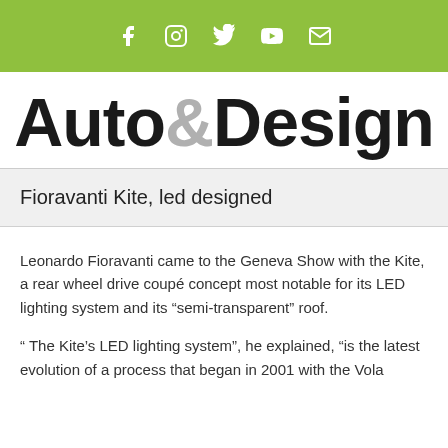Social media icons: Facebook, Instagram, Twitter, YouTube, Email
[Figure (logo): Auto&Design magazine logo in large bold text, '&' in grey, rest in black]
Fioravanti Kite, led designed
Leonardo Fioravanti came to the Geneva Show with the Kite, a rear wheel drive coupé concept most notable for its LED lighting system and its "semi-transparent" roof.
" The Kite's LED lighting system", he explained, "is the latest evolution of a process that began in 2001 with the Vola